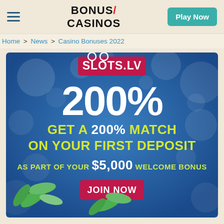BONUS/ CASINOS | Play Now
Home > News > Casino Bonuses 2022
[Figure (screenshot): Slots.LV casino advertisement banner on blue background with bokeh circles. Shows SLOTS.LV logo in pink/red rectangle at top. Large white bold text: 200%. Yellow and white bold text: GET A 200% MATCH ON YOUR FIRST DEPOSIT. AS PART OF YOUR $5,000 WELCOME BONUS. Pink/red JOIN NOW button. Green leaves decoration at bottom.]